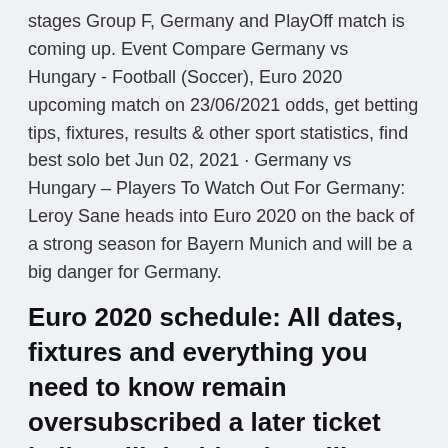stages Group F, Germany and PlayOff match is coming up. Event Compare Germany vs Hungary - Football (Soccer), Euro 2020 upcoming match on 23/06/2021 odds, get betting tips, fixtures, results & other sport statistics, find best solo bet Jun 02, 2021 · Germany vs Hungary – Players To Watch Out For Germany: Leroy Sane heads into Euro 2020 on the back of a strong season for Bayern Munich and will be a big danger for Germany.
Euro 2020 schedule: All dates, fixtures and everything you need to know remain oversubscribed a later ticket ballot will decide who still gets to attend. Saturday 19th